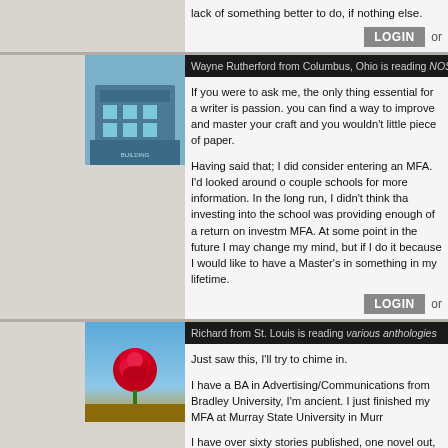lack of something better to do, if nothing else.
LOGIN or
Wayne Rutherford from Columbus, Ohio is reading NOS4A2
If you were to ask me, the only thing essential for a writer is passion. you can find a way to improve and master your craft and you wouldn't little piece of paper.
Having said that; I did consider entering an MFA. I'd looked around o couple schools for more information. In the long run, I didn't think tha investing into the school was providing enough of a return on investm MFA. At some point in the future I may change my mind, but if I do it because I would like to have a Master's in something in my lifetime.
LOGIN or
Richard from St. Louis is reading various anthologies
Just saw this, I'll try to chime in.
I have a BA in Advertising/Communications from Bradley University, I'm ancient. I just finished my MFA at Murray State University in Murr
I have over sixty stories published, one novel out, a second being sh